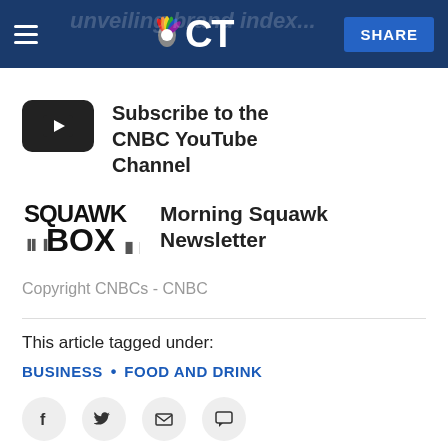NBC CT — SHARE
[Figure (logo): YouTube subscribe button icon — black rounded rectangle with white play triangle]
Subscribe to the CNBC YouTube Channel
[Figure (logo): Squawk Box logo — bold black text with dot matrix pattern]
Morning Squawk Newsletter
Copyright CNBCs - CNBC
This article tagged under:
BUSINESS • FOOD AND DRINK
[Figure (infographic): Social share icons: Facebook, Twitter, Email, Comment — circular gray buttons]
[Figure (photo): Partial image visible at the bottom of the page, dark/automotive subject]